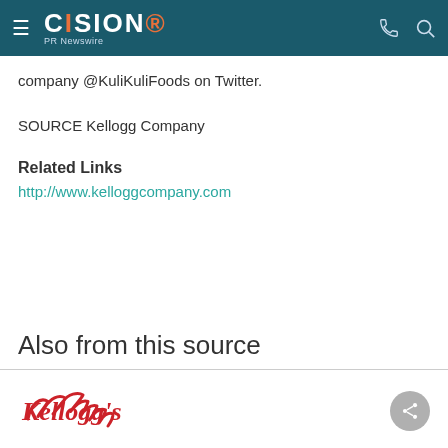CISION PR Newswire
company @KuliKuliFoods on Twitter.
SOURCE Kellogg Company
Related Links
http://www.kelloggcompany.com
Also from this source
[Figure (logo): Kellogg's cursive red logo]